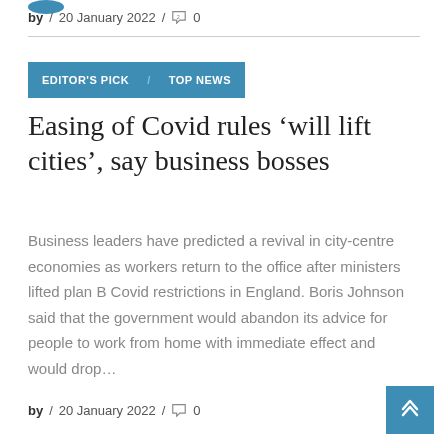by / 20 January 2022 / 0
EDITOR'S PICK / TOP NEWS
Easing of Covid rules ‘will lift cities’, say business bosses
Business leaders have predicted a revival in city-centre economies as workers return to the office after ministers lifted plan B Covid restrictions in England. Boris Johnson said that the government would abandon its advice for people to work from home with immediate effect and would drop…
by / 20 January 2022 / 0